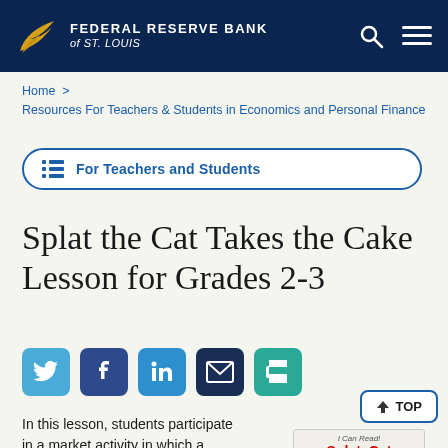FEDERAL RESERVE BANK of ST. LOUIS
Home > Resources For Teachers & Students in Economics and Personal Finance
For Teachers and Students
Splat the Cat Takes the Cake Lesson for Grades 2-3
[Figure (infographic): Social share icons: Twitter, Facebook, LinkedIn, Email, Print]
In this lesson, students participate in a market activity in which a market for
[Figure (illustration): Book cover: Splat the Cat Takes the Cake, with TOP button overlay]